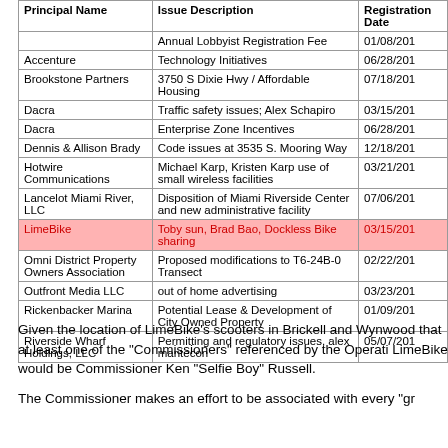| Principal Name | Issue Description | Registration Date |
| --- | --- | --- |
|  | Annual Lobbyist Registration Fee | 01/08/201 |
| Accenture | Technology Initiatives | 06/28/201 |
| Brookstone Partners | 3750 S Dixie Hwy / Affordable Housing | 07/18/201 |
| Dacra | Traffic safety issues; Alex Schapiro | 03/15/201 |
| Dacra | Enterprise Zone Incentives | 06/28/201 |
| Dennis & Allison Brady | Code issues at 3535 S. Mooring Way | 12/18/201 |
| Hotwire Communications | Michael Karp, Kristen Karp use of small wireless facilities | 03/21/201 |
| Lancelot Miami River, LLC | Disposition of Miami Riverside Center and new administrative facility | 07/06/201 |
| LimeBike | Toby sun, Brad Bao, Dockless Bike sharing | 03/15/201 |
| Omni District Property Owners Association | Proposed modifications to T6-24B-0 Transect | 02/22/201 |
| Outfront Media LLC | out of home advertising | 03/23/201 |
| Rickenbacker Marina | Potential Lease & Development of City Owned Property | 01/09/201 |
| Riverside Wharf Holdings, LLC | Permitting and regulatory issues, alex mantecon | 05/07/201 |
Given the location of LimeBike's scooters in Brickell and Wynwood that at least one of the "Commissioners" referenced by the Operations LimeBike would be Commissioner Ken "Selfie Boy" Russell.
The Commissioner makes an effort to be associated with every "gr